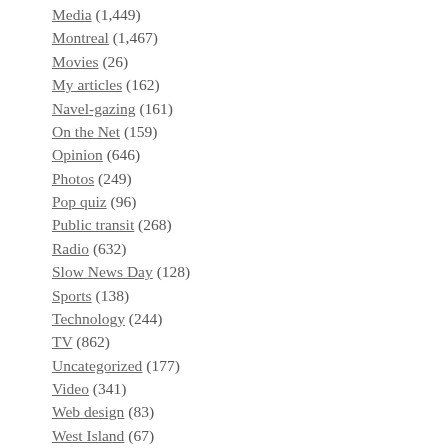Media (1,449)
Montreal (1,467)
Movies (26)
My articles (162)
Navel-gazing (161)
On the Net (159)
Opinion (646)
Photos (249)
Pop quiz (96)
Public transit (268)
Radio (632)
Slow News Day (128)
Sports (138)
Technology (244)
TV (862)
Uncategorized (177)
Video (341)
Web design (83)
West Island (67)